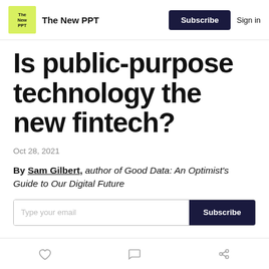The New PPT | Subscribe | Sign in
Is public-purpose technology the new fintech?
Oct 28, 2021
By Sam Gilbert, author of Good Data: An Optimist's Guide to Our Digital Future